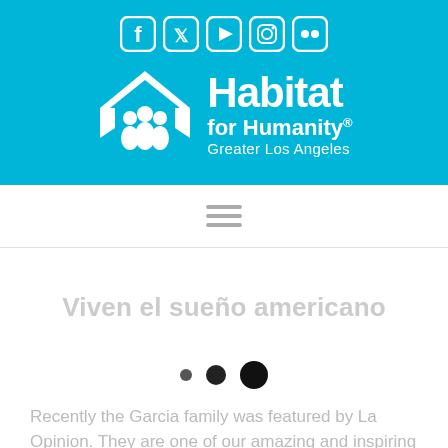[Figure (logo): Habitat for Humanity Greater Los Angeles logo with social media icons (Facebook, Twitter, YouTube, Instagram, Flickr) on cyan background]
[Figure (other): Hamburger navigation menu icon (three horizontal lines)]
Viven el sueño americano
[Figure (other): Slideshow pagination dots (three circles of increasing size)]
Recently the Garcia family was featured by La Opinion. They are one of our amazing and inspiring families who...